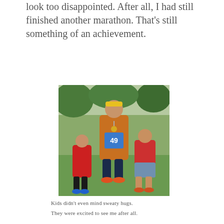look too disappointed. After all, I had still finished another marathon. That's still something of an achievement.
[Figure (photo): A marathon runner wearing a yellow visor, orange and black running jersey with race bib number 49, and a medal around his neck, posing with two young boys in red shirts on a grassy field with trees in the background.]
Kids didn't even mind sweaty hugs.
They were excited to see me after all.